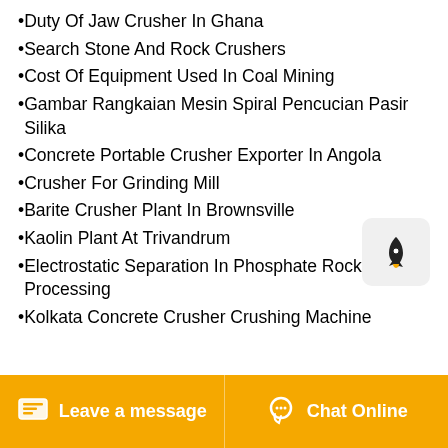Duty Of Jaw Crusher In Ghana
Search Stone And Rock Crushers
Cost Of Equipment Used In Coal Mining
Gambar Rangkaian Mesin Spiral Pencucian Pasir Silika
Concrete Portable Crusher Exporter In Angola
Crusher For Grinding Mill
Barite Crusher Plant In Brownsville
Kaolin Plant At Trivandrum
Electrostatic Separation In Phosphate Rock Processing
Kolkata Concrete Crusher Crushing Machine
[Figure (logo): Rocket icon in a grey rounded square box]
Leave a message
Chat Online